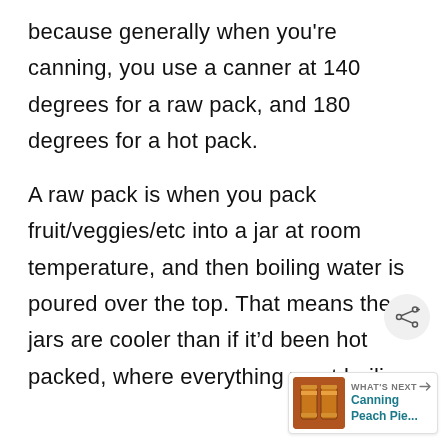because generally when you're canning, you use a canner at 140 degrees for a raw pack, and 180 degrees for a hot pack.
A raw pack is when you pack fruit/veggies/etc into a jar at room temperature, and then boiling water is poured over the top. That means the jars are cooler than if it'd been hot packed, where everything went boiling.
[Figure (other): Share button icon (circular button with share symbol)]
[Figure (other): What's Next widget showing 'Canning Peach Pie...' with a thumbnail of canning jars]